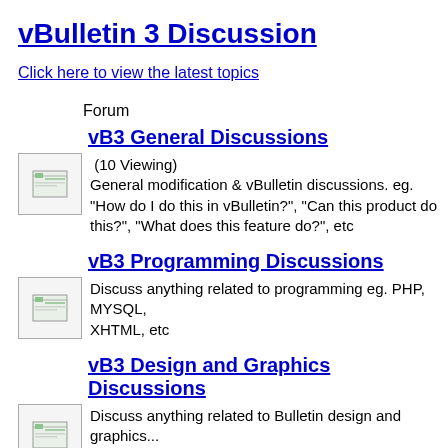vBulletin 3 Discussion
Click here to view the latest topics
Forum
vB3 General Discussions
(10 Viewing)
General modification & vBulletin discussions. eg. "How do I do this in vBulletin?", "Can this product do this?", "What does this feature do?", etc
vB3 Programming Discussions
Discuss anything related to programming eg. PHP, MYSQL, XHTML, etc
vB3 Design and Graphics Discussions
Discuss anything related to Bulletin design and graphics...